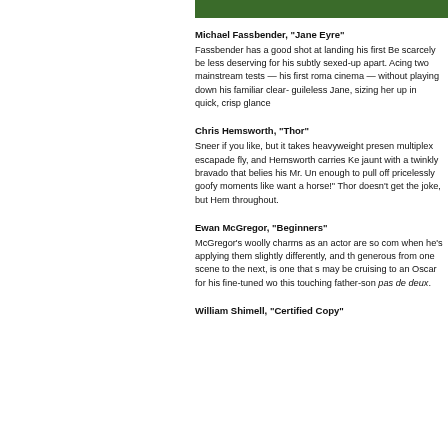[Figure (photo): Top strip of a green foliage/nature photo, cropped at top of page]
Michael Fassbender, “Jane Eyre”
Fassbender has a good shot at landing his first Be... scarcely be less deserving for his subtly sexed-up... apart. Acing two mainstream tests — his first roma... cinema — without playing down his familiar clear-... guileless Jane, sizing her up in quick, crisp glance...
Chris Hemsworth, “Thor”
Sneer if you like, but it takes heavyweight presen... multiplex escapade fly, and Hemsworth carries Ke... jaunt with a twinkly bravado that belies his Mr. Un... enough to pull off pricelessly goofy moments like ... want a horse!” Thor doesn’t get the joke, but Hem... throughout.
Ewan McGregor, “Beginners”
McGregor’s woolly charms as an actor are so com... when he’s applying them slightly differently, and th... generous from one scene to the next, is one that s... may be cruising to an Oscar for his fine-tuned wo... this touching father-son pas de deux.
William Shimell, “Certified Copy”